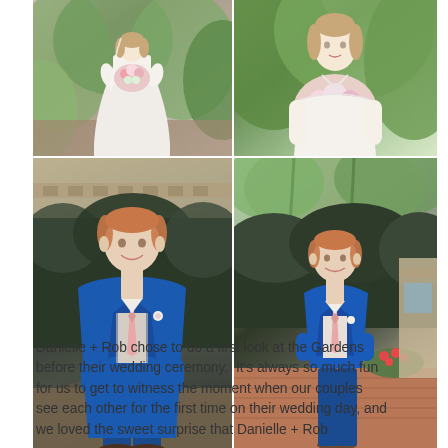[Figure (photo): Four wedding photos arranged in a 2x2 grid. Top row: two photos of a bride in a white wedding gown holding a pink and white bouquet, set against lush green garden foliage. Bottom row: two photos of the groom in a blue three-piece suit with a pink tie and boutonniere, standing in garden settings.]
Danielle + Rob chose to do a first look at the Gardens before their wedding ceremony.  It's always so much fun for us to get to witness the moment when our couples see each other for the first time on their wedding day, and we loved the sweet surprise that Danielle + Rob